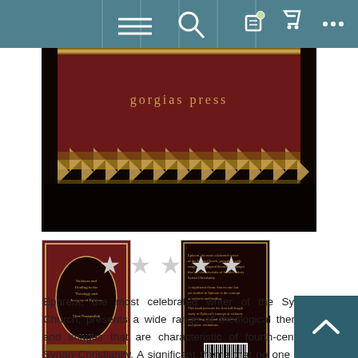[Figure (screenshot): Website navigation bar with menu, search, edit, cart, and more icons on teal background]
[Figure (photo): Main book cover image showing Gorgias Press book with dark background, crimson and gold decorative border pattern]
[Figure (photo): Two thumbnail images of book - front cover (left) and back cover (right)]
[Figure (other): Five empty star rating icons in gray]
Ephrem, the most celebrated writer of the Syriac Church, presents a wide range of theological themes and images that are characteristic of fourth-century Syrian Christianity. A significant theme that no one has yet studied in Ephrem is the concept of sickness and healing. This book presents the